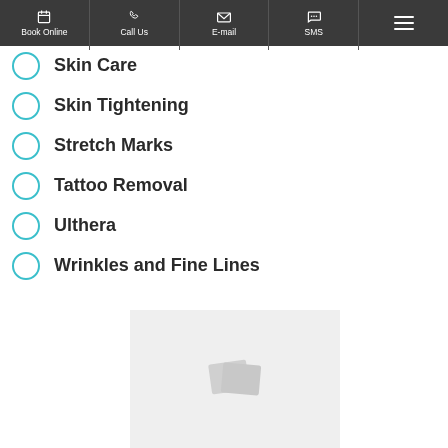Book Online | Call Us | E-mail | SMS
Skin Care
Skin Tightening
Stretch Marks
Tattoo Removal
Ulthera
Wrinkles and Fine Lines
[Figure (photo): Placeholder image with a broken image icon on a light grey background]